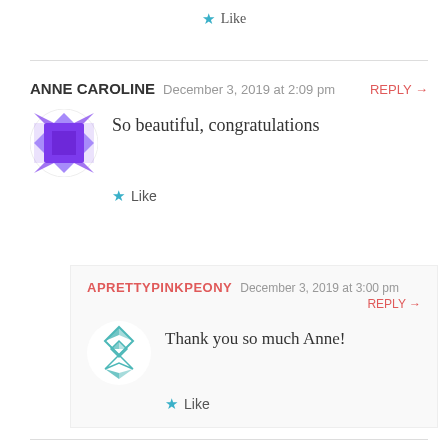Like
ANNE CAROLINE   December 3, 2019 at 2:09 pm   REPLY →
So beautiful, congratulations
Like
APRETTYPINKPEONY   December 3, 2019 at 3:00 pm   REPLY →
Thank you so much Anne!
Like